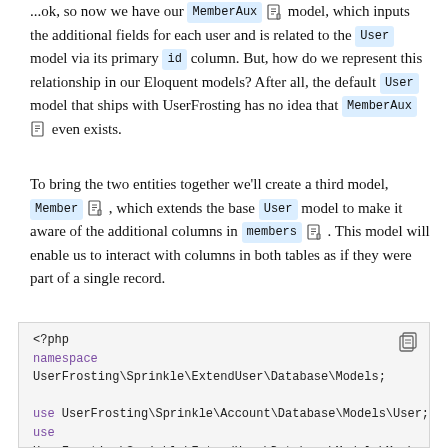...ok, so now we have our MemberAux [icon] model, which inputs the additional fields for each user and is related to the User model via its primary id column. But, how do we represent this relationship in our Eloquent models? After all, the default User model that ships with UserFrosting has no idea that MemberAux [icon] even exists.
To bring the two entities together we'll create a third model, Member [icon], which extends the base User model to make it aware of the additional columns in members [icon]. This model will enable us to interact with columns in both tables as if they were part of a single record.
[Figure (screenshot): PHP code block showing namespace UserFrosting\Sprinkle\ExtendUser\Database\Models; use UserFrosting\Sprinkle\Account\Database\Models\User; use UserFrosting\Sprinkle\ExtendUser\Database\Models\MemberAux]